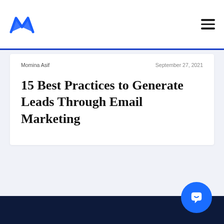Momina Asif | September 27, 2021
15 Best Practices to Generate Leads Through Email Marketing